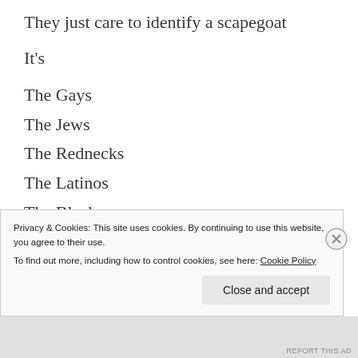They just care to identify a scapegoat
It's
The Gays
The Jews
The Rednecks
The Latinos
The Blacks
The Scientists
The Atheists
The Catholics
Privacy & Cookies: This site uses cookies. By continuing to use this website, you agree to their use.
To find out more, including how to control cookies, see here: Cookie Policy
REPORT THIS AD